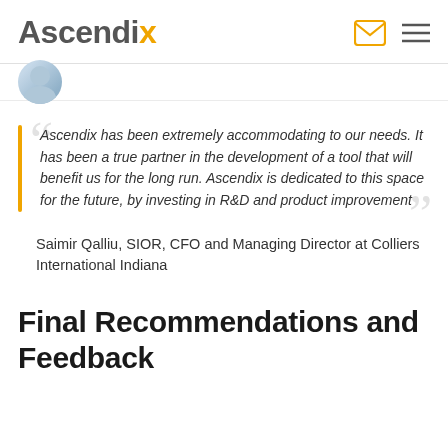Ascendix
[Figure (photo): Partial avatar/profile photo circle visible at top of content area]
Ascendix has been extremely accommodating to our needs. It has been a true partner in the development of a tool that will benefit us for the long run. Ascendix is dedicated to this space for the future, by investing in R&D and product improvement
Saimir Qalliu, SIOR, CFO and Managing Director at Colliers International Indiana
Final Recommendations and Feedback